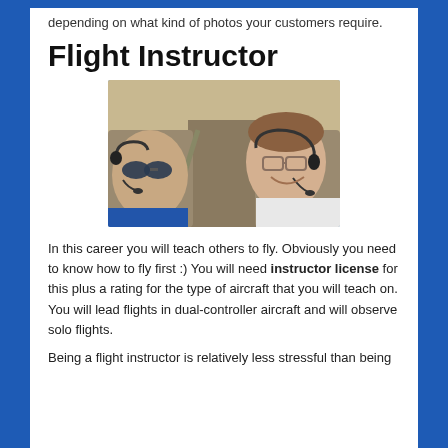depending on what kind of photos your customers require.
Flight Instructor
[Figure (photo): Two men wearing aviation headsets inside a small aircraft cockpit. The man on the left is wearing sunglasses and a blue shirt. The man on the right is smiling and wearing glasses and a white shirt.]
In this career you will teach others to fly. Obviously you need to know how to fly first :) You will need instructor license for this plus a rating for the type of aircraft that you will teach on. You will lead flights in dual-controller aircraft and will observe solo flights.
Being a flight instructor is relatively less stressful than being a commercial pilot but it still carries its own lot of responsibilities.